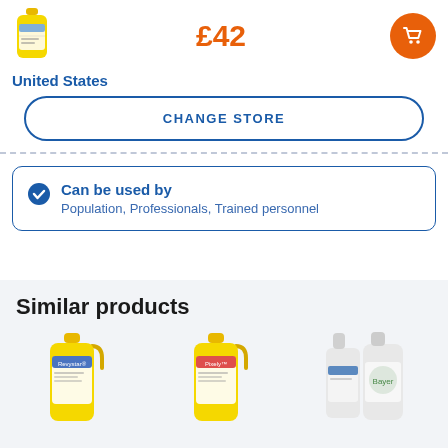[Figure (photo): Small yellow bottle product thumbnail in top left header]
£42
[Figure (other): Orange circular cart/shopping button icon]
United States
CHANGE STORE
Can be used by
Population, Professionals, Trained personnel
Similar products
[Figure (photo): Three similar product bottles shown at bottom: Revystar (yellow), Pixely (yellow), and two white bottles]